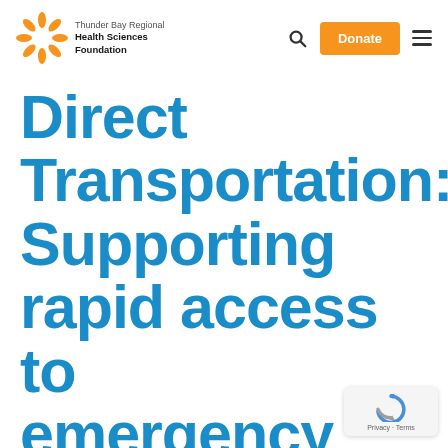[Figure (logo): Thunder Bay Regional Health Sciences Foundation sunflower logo with orange petals]
Thunder Bay Regional Health Sciences Foundation — Donate button and search/menu icons
Direct Transportation: Supporting rapid access to emergency stroke